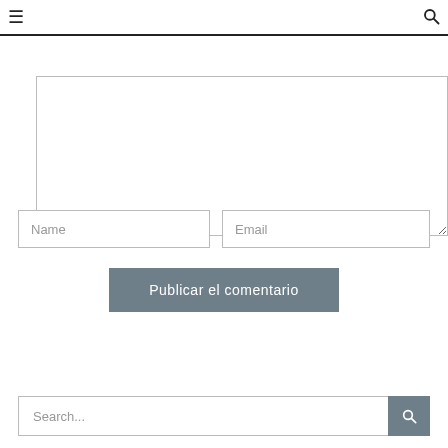≡  🔍
[Comment textarea]
Name
Email
Publicar el comentario
Search...